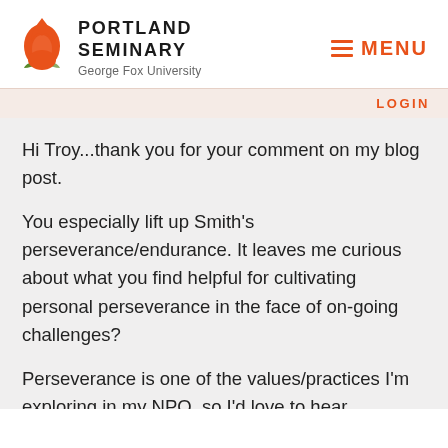[Figure (logo): Portland Seminary / George Fox University logo with orange flame and green leaf icon]
≡ MENU
LOGIN
Hi Troy...thank you for your comment on my blog post.
You especially lift up Smith's perseverance/endurance. It leaves me curious about what you find helpful for cultivating personal perseverance in the face of on-going challenges?
Perseverance is one of the values/practices I'm exploring in my NPO, so I'd love to hear